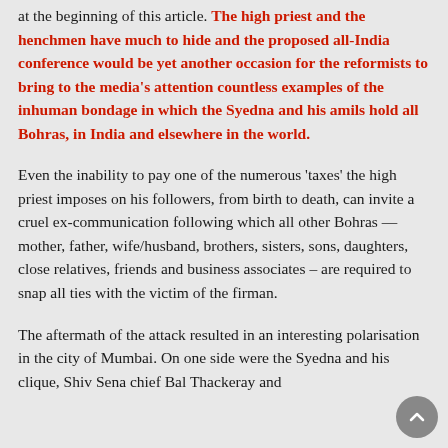at the beginning of this article. The high priest and the henchmen have much to hide and the proposed all-India conference would be yet another occasion for the reformists to bring to the media's attention countless examples of the inhuman bondage in which the Syedna and his amils hold all Bohras, in India and elsewhere in the world.
Even the inability to pay one of the numerous 'taxes' the high priest imposes on his followers, from birth to death, can invite a cruel ex-communication following which all other Bohras — mother, father, wife/husband, brothers, sisters, sons, daughters, close relatives, friends and business associates – are required to snap all ties with the victim of the firman.
The aftermath of the attack resulted in an interesting polarisation in the city of Mumbai. On one side were the Syedna and his clique, Shiv Sena chief Bal Thackeray and